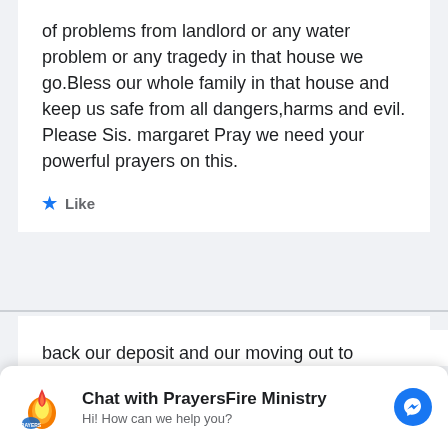of problems from landlord or any water problem or any tragedy in that house we go.Bless our whole family in that house and keep us safe from all dangers,harms and evil. Please Sis. margaret Pray we need your powerful prayers on this.
★ Like
[Figure (screenshot): Default user avatar placeholder — grey square with white silhouette of a person]
[Figure (logo): PrayersFire Ministry chat widget with logo, title 'Chat with PrayersFire Ministry', subtitle 'Hi! How can we help you?', and a Messenger icon button]
back our deposit and our moving out to